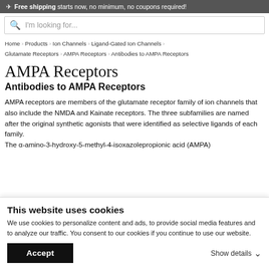✈ Free shipping starts now, no minimum, no coupons required!
I'm looking for...
Home > Products > Ion Channels > Ligand-Gated Ion Channels > Glutamate Receptors > AMPA Receptors > Antibodies to AMPA Receptors
AMPA Receptors
Antibodies to AMPA Receptors
AMPA receptors are members of the glutamate receptor family of ion channels that also include the NMDA and Kainate receptors. The three subfamilies are named after the original synthetic agonists that were identified as selective ligands of each family. The α-amino-3-hydroxy-5-methyl-4-isoxazolepropionic acid (AMPA)
This website uses cookies
We use cookies to personalize content and ads, to provide social media features and to analyze our traffic. You consent to our cookies if you continue to use our website.
Accept
Show details